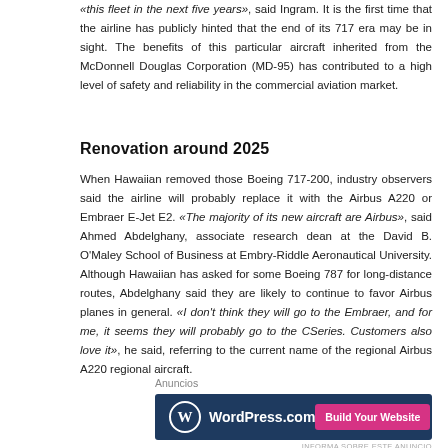«this fleet in the next five years», said Ingram. It is the first time that the airline has publicly hinted that the end of its 717 era may be in sight. The benefits of this particular aircraft inherited from the McDonnell Douglas Corporation (MD-95) has contributed to a high level of safety and reliability in the commercial aviation market.
Renovation around 2025
When Hawaiian removed those Boeing 717-200, industry observers said the airline will probably replace it with the Airbus A220 or Embraer E-Jet E2. «The majority of its new aircraft are Airbus», said Ahmed Abdelghany, associate research dean at the David B. O'Maley School of Business at Embry-Riddle Aeronautical University. Although Hawaiian has asked for some Boeing 787 for long-distance routes, Abdelghany said they are likely to continue to favor Airbus planes in general. «I don't think they will go to the Embraer, and for me, it seems they will probably go to the CSeries. Customers also love it», he said, referring to the current name of the regional Airbus A220 regional aircraft.
Anuncios
[Figure (advertisement): WordPress.com advertisement banner with dark navy background, WordPress logo, and pink 'Build Your Website' button.]
INFORMA SOBRE ESTE ANUNCIO